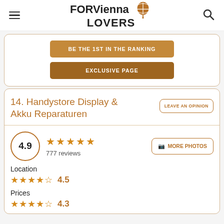FOR Vienna LOVERS
BE THE 1ST IN THE RANKING
EXCLUSIVE PAGE
14. Handystore Display & Akku Reparaturen
LEAVE AN OPINION
4.9 ★★★★★ 777 reviews
MORE PHOTOS
Location ★★★★☆ 4.5
Prices ★★★★☆ 4.3